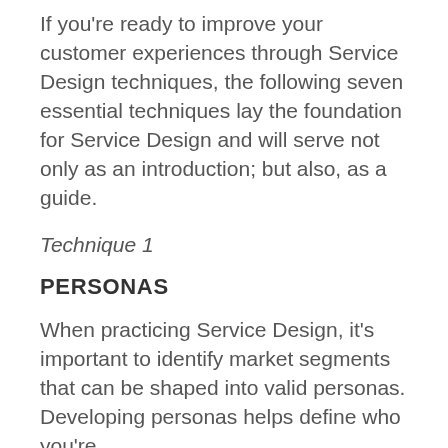If you're ready to improve your customer experiences through Service Design techniques, the following seven essential techniques lay the foundation for Service Design and will serve not only as an introduction; but also, as a guide.
Technique 1
PERSONAS
When practicing Service Design, it's important to identify market segments that can be shaped into valid personas. Developing personas helps define who you're